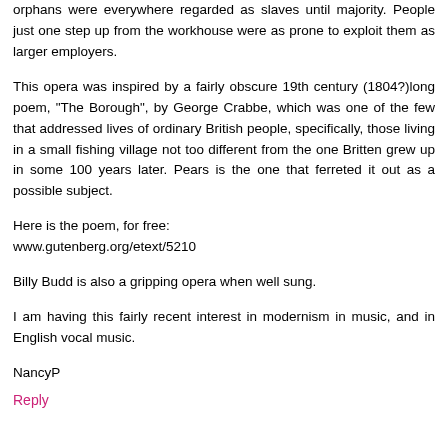orphans were everywhere regarded as slaves until majority. People just one step up from the workhouse were as prone to exploit them as larger employers.
This opera was inspired by a fairly obscure 19th century (1804?)long poem, "The Borough", by George Crabbe, which was one of the few that addressed lives of ordinary British people, specifically, those living in a small fishing village not too different from the one Britten grew up in some 100 years later. Pears is the one that ferreted it out as a possible subject.
Here is the poem, for free:
www.gutenberg.org/etext/5210
Billy Budd is also a gripping opera when well sung.
I am having this fairly recent interest in modernism in music, and in English vocal music.
NancyP
Reply